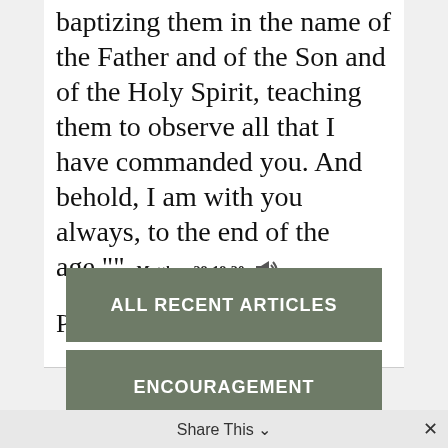baptizing them in the name of the Father and of the Son and of the Holy Spirit, teaching them to observe all that I have commanded you. And behold, I am with you always, to the end of the age."" -Matthew 28:18-20
Powered by BibleGateway.com
ALL RECENT ARTICLES
ENCOURAGEMENT
Share This ∨